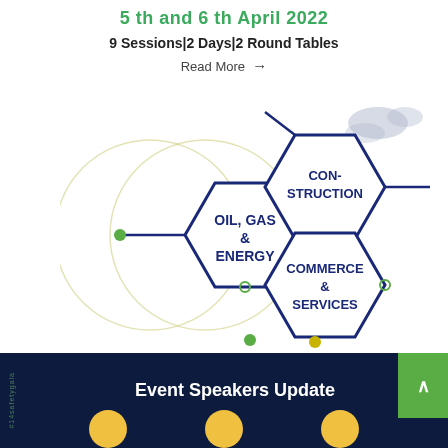5 th and 6 th April 2022
9 Sessions|2 Days|2 Round Tables
Read More →
[Figure (infographic): Hexagonal network diagram showing industry sectors: OIL, GAS & ENERGY (center-left), CON-STRUCTION (top-right), COMMERCE & SERVICES (bottom-right), with circular overlapping rings and small green/yellow dots at connection points. A faint map outline appears in top-right corner.]
Event Speakers Update